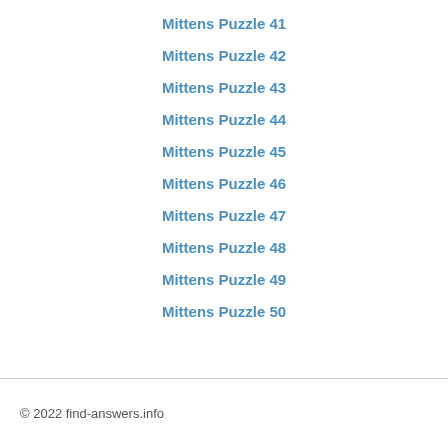Mittens Puzzle 41
Mittens Puzzle 42
Mittens Puzzle 43
Mittens Puzzle 44
Mittens Puzzle 45
Mittens Puzzle 46
Mittens Puzzle 47
Mittens Puzzle 48
Mittens Puzzle 49
Mittens Puzzle 50
© 2022 find-answers.info